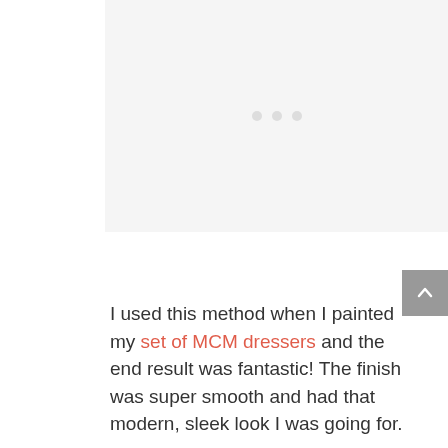[Figure (other): A light gray rectangular image placeholder with three small gray dots in the center, indicating an unloaded or placeholder image area.]
I used this method when I painted my set of MCM dressers and the end result was fantastic! The finish was super smooth and had that modern, sleek look I was going for.